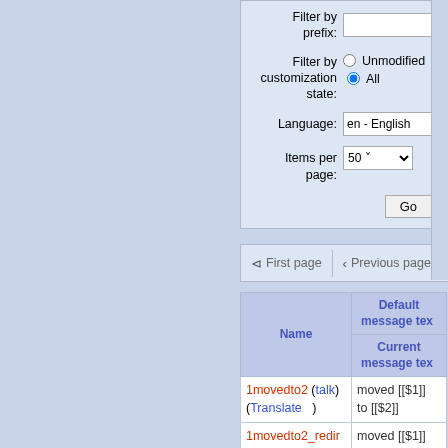[Figure (screenshot): Web interface form with filter options: Filter by prefix (text input), Filter by customization state (radio buttons: Unmodified, All), Language dropdown (en - English), Items per page (50 dropdown), Go button]
[Figure (screenshot): Navigation bar with First page and Previous page buttons (disabled/grayed)]
| Name | Default message text / Current message text |
| --- | --- |
| 1movedto2 (talk) (Translate) | moved [[$1]] to [[$2]] |
| 1movedto2_redir (talk) (Translate) | moved [[$1]] to [[$2]] over redirect |